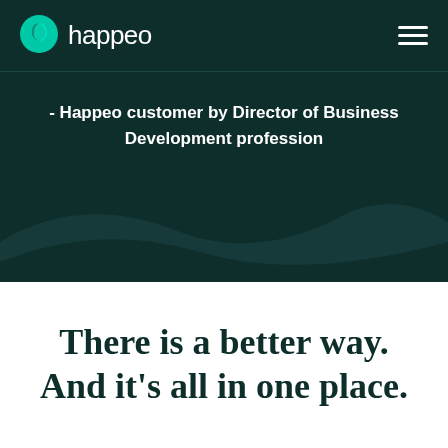[Figure (logo): Happeo logo with teal leaf/circle icon and white wordmark 'happeo', plus hamburger menu icon on dark green background]
- Happeo customer by Director of Business Development profession
There is a better way. And it's all in one place.